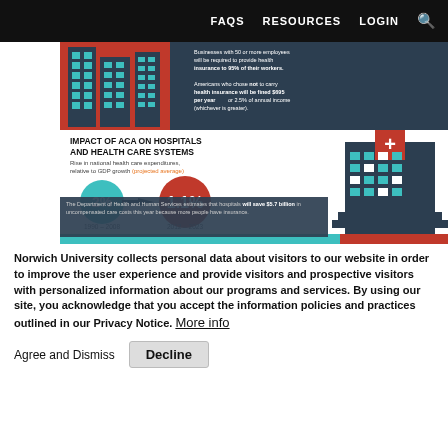FAQS   RESOURCES   LOGIN
[Figure (infographic): ACA infographic showing impact on hospitals and health care systems. Upper portion: buildings illustration with red/dark background, text 'BY 2016 Businesses with 50 or more employees will be required to provide health insurance to 95% of their workers. Americans who chose not to carry health insurance will be fined $695 per year or 2.5% of annual income (whichever is greater).' Lower portion: 'IMPACT OF ACA ON HOSPITALS AND HEALTH CARE SYSTEMS. Rise in national health care expenditures, relative to GDP growth (projected average)'. Two circles: teal circle '2%' labeled '1990-2008', arrow pointing to red circle '1.1%' labeled '2012-2023'. Hospital building illustration. Dark box: 'The Department of Health and Human Services estimates that hospitals will save $5.7 billion in uncompensated care costs this year because more people have insurance.']
Norwich University collects personal data about visitors to our website in order to improve the user experience and provide visitors and prospective visitors with personalized information about our programs and services. By using our site, you acknowledge that you accept the information policies and practices outlined in our Privacy Notice. More info
Agree and Dismiss   Decline